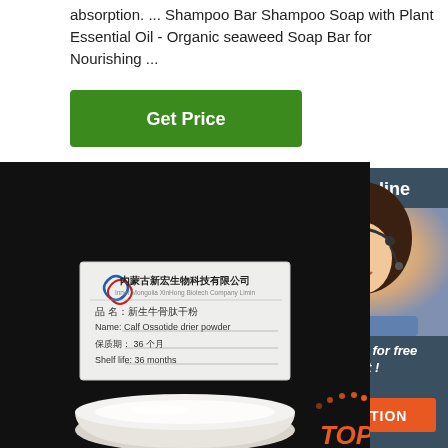absorption. ... Shampoo Bar Shampoo Soap with Plant Essential Oil - Organic seaweed Soap Bar for Nourishing ...
[Figure (screenshot): Green 'Get Price' button]
[Figure (screenshot): Right sidebar with '24/7 Online' label, customer service representative photo, 'Click here for free chat!' text, and orange QUOTATION button]
[Figure (photo): Product photo showing a container of white powder (Calf Ossotide drier powder) on a dark background, with a product label card showing Chinese company name (内蒙古新宏生物科技有限公司 / Inner Mongolia XinHong Biotech Company Limin), product name (新生牛骨肽干粉 / Calf Ossotide drier powder), shelf life (36 个月 / 36 months). An orange TOP badge appears bottom right.]